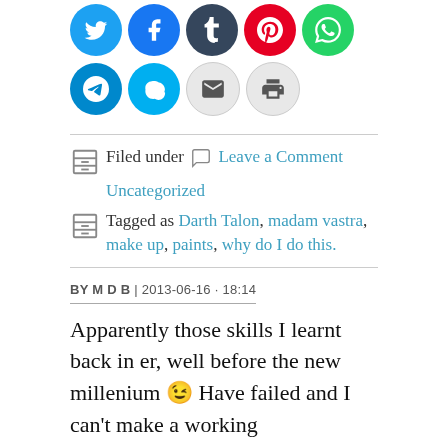[Figure (other): Row of social media sharing icon buttons: Twitter (blue), Facebook (blue), Tumblr (dark), Pinterest (red), WhatsApp (green), Telegram (blue), Skype (light blue), Email (grey), Print (grey)]
Filed under [icon] Leave a Comment
Uncategorized
Tagged as Darth Talon, madam vastra, make up, paints, why do I do this.
BY M D B | 2013-06-16 · 18:14
Apparently those skills I learnt back in er, well before the new millenium 😉 Have failed and I can't make a working